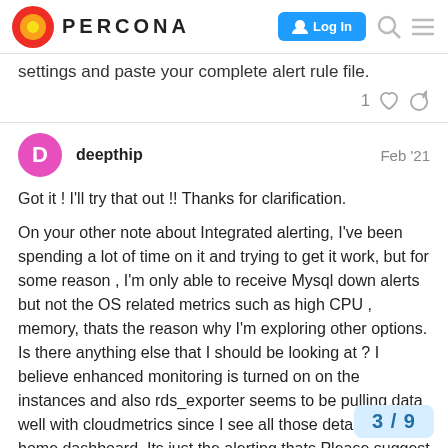PERCONA — Log In
settings and paste your complete alert rule file.
1 ♡ 🔗
deepthip  Feb '21
Got it ! I'll try that out !! Thanks for clarification.

On your other note about Integrated alerting, I've been spending a lot of time on it and trying to get it work, but for some reason , I'm only able to receive Mysql down alerts but not the OS related metrics such as high CPU , memory, thats the reason why I'm exploring other options. Is there anything else that I should be looking at ? I believe enhanced monitoring is turned on on the instances and also rds_exporter seems to be pulling data well with cloudmetrics since I see all those details in the home dashboard. Its just the alerting thats Please suggest what else I need to look at
3 / 9